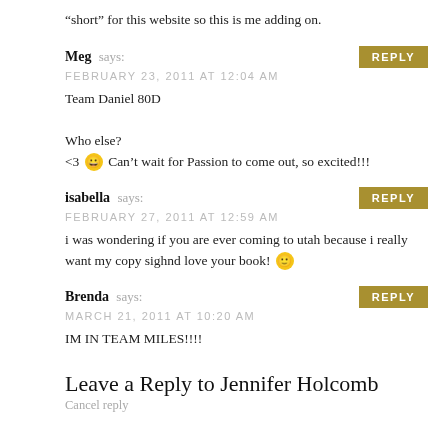“short” for this website so this is me adding on.
Meg says:
FEBRUARY 23, 2011 AT 12:04 AM
Team Daniel 80D

Who else?
<3 😀 Can’t wait for Passion to come out, so excited!!!
isabella says:
FEBRUARY 27, 2011 AT 12:59 AM
i was wondering if you are ever coming to utah because i really want my copy sighnd love your book! 🙂
Brenda says:
MARCH 21, 2011 AT 10:20 AM
IM IN TEAM MILES!!!!
Leave a Reply to Jennifer Holcomb
Cancel reply